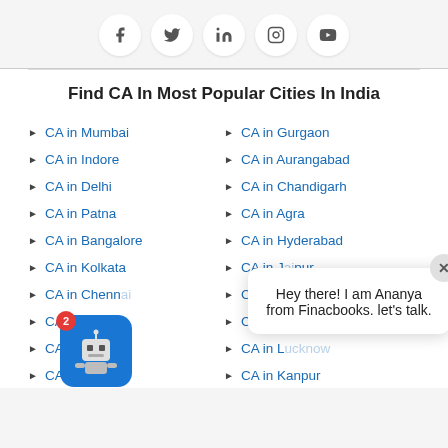[Figure (illustration): Social media icons: Facebook, Twitter, LinkedIn, Instagram, YouTube in circular white buttons on grey background]
Find CA In Most Popular Cities In India
CA in Mumbai
CA in Gurgaon
CA in Indore
CA in Aurangabad
CA in Delhi
CA in Chandigarh
CA in Patna
CA in Agra
CA in Bangalore
CA in Hyderabad
CA in Kolkata
CA in Jaipur
CA in Chennai
CA in Noida
CA in Indore
CA in Ahmedabad
CA in Jaipur
CA in Lucknow
CA in Amritsar
CA in Kanpur
Hey there! I am Ananya from Finacbooks. let's talk.